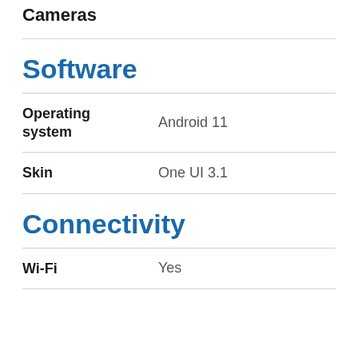Cameras
Software
| Feature | Value |
| --- | --- |
| Operating system | Android 11 |
| Skin | One UI 3.1 |
Connectivity
| Feature | Value |
| --- | --- |
| Wi-Fi | Yes |